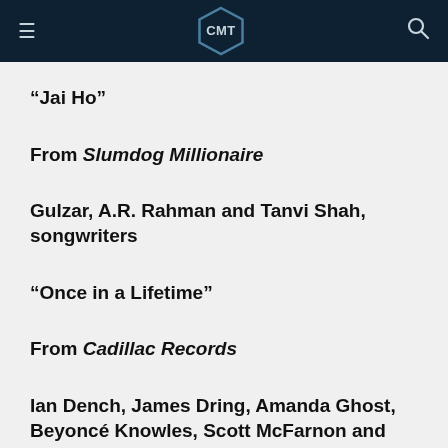CMT
"Jai Ho"
From Slumdog Millionaire
Gulzar, A.R. Rahman and Tanvi Shah, songwriters
"Once in a Lifetime"
From Cadillac Records
Ian Dench, James Dring, Amanda Ghost, Beyoncé Knowles, Scott McFarnon and Jody Street, songwriters